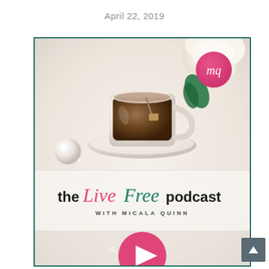April 22, 2019
[Figure (photo): Podcast cover art for 'the Live Free podcast with Micala Quinn' showing a tea cup on a saucer with a white flower, pearls, and soft white background. Pink play button at the bottom. Pink circular badge with script initials top right. Dark teal border around the image. A scroll-to-top button visible at bottom right outside the image.]